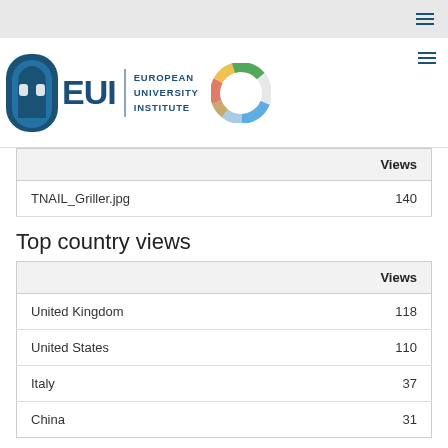[Figure (logo): EUI (European University Institute) logo with arch icon, bold EUI letters, full name text, and colorful donut chart graphic]
|  | Views |
| --- | --- |
| TNAIL_Griller.jpg | 140 |
Top country views
|  | Views |
| --- | --- |
| United Kingdom | 118 |
| United States | 110 |
| Italy | 37 |
| China | 31 |